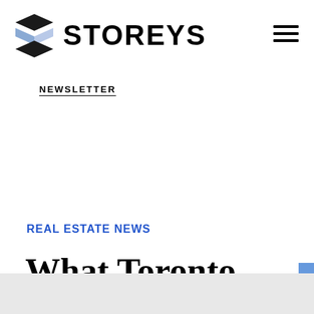STOREYS
NEWSLETTER
REAL ESTATE NEWS
What Toronto Condos and